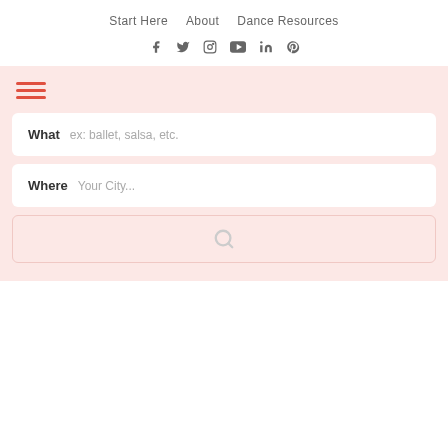Start Here   About   Dance Resources
f  twitter  instagram  youtube  in  pinterest
[Figure (screenshot): Pink search widget with hamburger menu, What field (ex: ballet, salsa, etc.), Where field (Your City...), and search button with magnifier icon]
What  ex: ballet, salsa, etc.
Where  Your City...